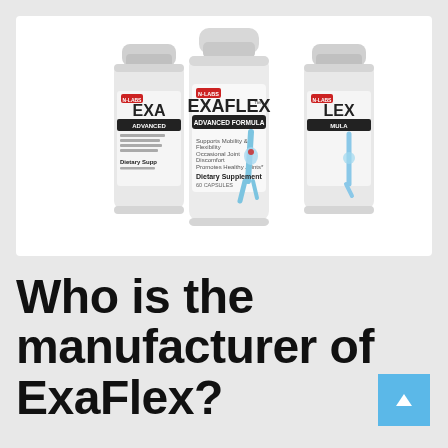[Figure (photo): Three white supplement bottles labeled EXAFLEX Advanced Formula, a dietary supplement for joint health, showing a blue illustration of leg joints on the label.]
Who is the manufacturer of ExaFlex?